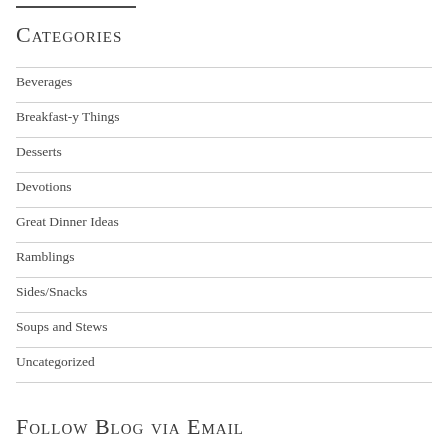Categories
Beverages
Breakfast-y Things
Desserts
Devotions
Great Dinner Ideas
Ramblings
Sides/Snacks
Soups and Stews
Uncategorized
Follow Blog via Email